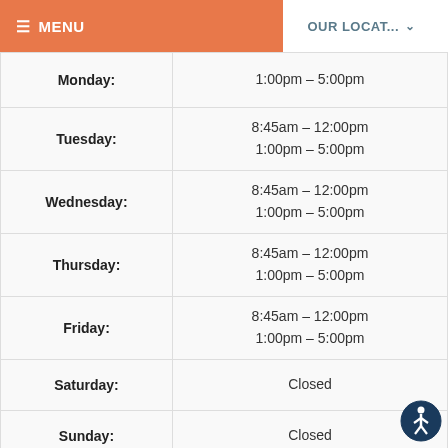≡ MENU    OUR LOCAT... ∨
| Day | Hours |
| --- | --- |
| Monday: | 1:00pm  –  5:00pm |
| Tuesday: | 8:45am  –  12:00pm
1:00pm  –  5:00pm |
| Wednesday: | 8:45am  –  12:00pm
1:00pm  –  5:00pm |
| Thursday: | 8:45am  –  12:00pm
1:00pm  –  5:00pm |
| Friday: | 8:45am  –  12:00pm
1:00pm  –  5:00pm |
| Saturday: | Closed |
| Sunday: | Closed |